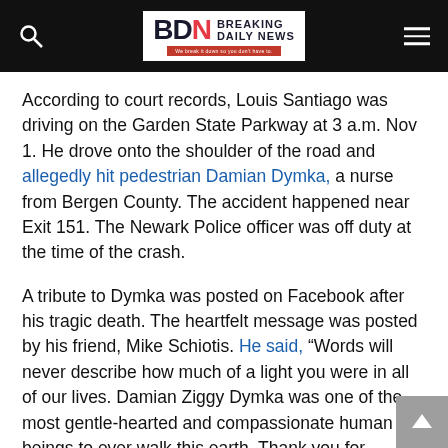Breaking Daily News
According to court records, Louis Santiago was driving on the Garden State Parkway at 3 a.m. Nov 1. He drove onto the shoulder of the road and allegedly hit pedestrian Damian Dymka, a nurse from Bergen County. The accident happened near Exit 151. The Newark Police officer was off duty at the time of the crash.
A tribute to Dymka was posted on Facebook after his tragic death. The heartfelt message was posted by his friend, Mike Schiotis. He said, “Words will never describe how much of a light you were in all of our lives. Damian Ziggy Dymka was one of the most gentle-hearted and compassionate human beings to ever walk this earth. Thank you for countless laughs and memories. We will always keep your memory